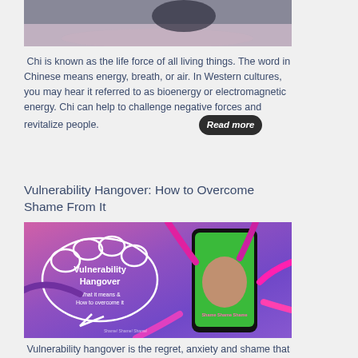[Figure (photo): Person bowing or stretching on a mat, seen from behind, with candles nearby]
Chi is known as the life force of all living things. The word in Chinese means energy, breath, or air. In Western cultures, you may hear it referred to as bioenergy or electromagnetic energy. Chi can help to challenge negative forces and revitalize people. Read more
Vulnerability Hangover: How to Overcome Shame From It
[Figure (photo): Colorful thumbnail image with 'Vulnerability Hangover' text in a cloud speech bubble, and a woman on a phone screen surrounded by pointing hands, on a purple-pink background]
Vulnerability hangover is the regret, anxiety and shame that you feel after having exposed vulnerable parts about yourself to others. Read more